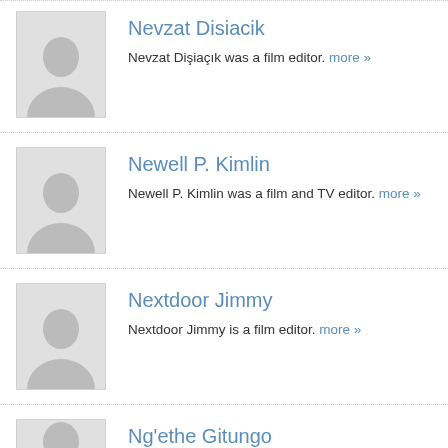[Figure (photo): Placeholder avatar silhouette for Nevzat Disiacik]
Nevzat Disiacik
Nevzat Dişiaçık was a film editor. more »
[Figure (photo): Placeholder avatar silhouette for Newell P. Kimlin]
Newell P. Kimlin
Newell P. Kimlin was a film and TV editor. more »
[Figure (photo): Placeholder avatar silhouette for Nextdoor Jimmy]
Nextdoor Jimmy
Nextdoor Jimmy is a film editor. more »
[Figure (photo): Placeholder avatar silhouette for Ng'ethe Gitungo]
Ng'ethe Gitungo
Ng'ethe Gitungo is a film editor. more »